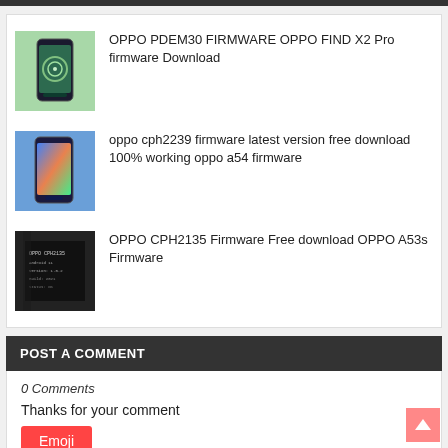OPPO PDEM30 FIRMWARE OPPO FIND X2 Pro firmware Download
oppo cph2239 firmware latest version free download 100% working oppo a54 firmware
OPPO CPH2135 Firmware Free download OPPO A53s Firmware
POST A COMMENT
0 Comments
Thanks for your comment